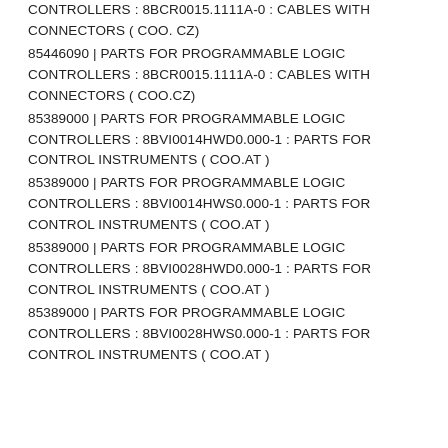CONTROLLERS : 8BCR0015.1111A-0 : CABLES WITH CONNECTORS ( COO. CZ)
85446090 | PARTS FOR PROGRAMMABLE LOGIC CONTROLLERS : 8BCR0015.1111A-0 : CABLES WITH CONNECTORS ( COO.CZ)
85389000 | PARTS FOR PROGRAMMABLE LOGIC CONTROLLERS : 8BVI0014HWD0.000-1 : PARTS FOR CONTROL INSTRUMENTS ( COO.AT )
85389000 | PARTS FOR PROGRAMMABLE LOGIC CONTROLLERS : 8BVI0014HWS0.000-1 : PARTS FOR CONTROL INSTRUMENTS ( COO.AT )
85389000 | PARTS FOR PROGRAMMABLE LOGIC CONTROLLERS : 8BVI0028HWD0.000-1 : PARTS FOR CONTROL INSTRUMENTS ( COO.AT )
85389000 | PARTS FOR PROGRAMMABLE LOGIC CONTROLLERS : 8BVI0028HWS0.000-1 : PARTS FOR CONTROL INSTRUMENTS ( COO.AT )